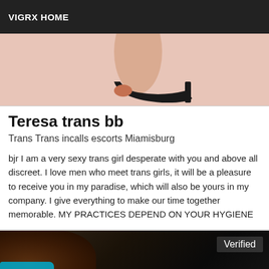VIGRX HOME
[Figure (photo): Close-up photo of a foot wearing a black open-toe high-heel shoe against a pink/peach background]
Teresa trans bb
Trans Trans incalls escorts Miamisburg
bjr I am a very sexy trans girl desperate with you and above all discreet. I love men who meet trans girls, it will be a pleasure to receive you in my paradise, which will also be yours in my company. I give everything to make our time together memorable. MY PRACTICES DEPEND ON YOUR HYGIENE
[Figure (photo): Dark photo showing a person with curly hair and a teal/blue garment, with a 'Verified' badge overlay in the top right corner]